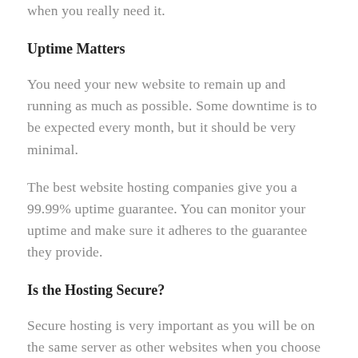when you really need it.
Uptime Matters
You need your new website to remain up and running as much as possible. Some downtime is to be expected every month, but it should be very minimal.
The best website hosting companies give you a 99.99% uptime guarantee. You can monitor your uptime and make sure it adheres to the guarantee they provide.
Is the Hosting Secure?
Secure hosting is very important as you will be on the same server as other websites when you choose shared hosting. This can be dangerous if the hosting company doesn't take security very seriously. You need